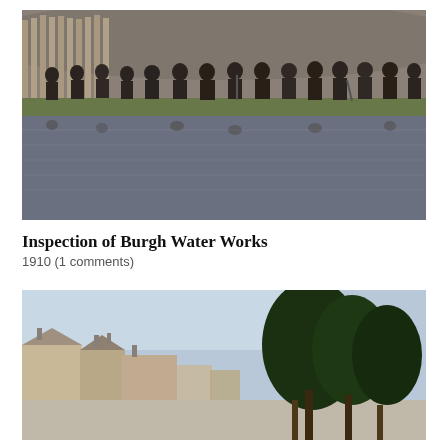[Figure (photo): Black and white historical photograph of a group of men standing along the edge of a reservoir or water storage pond, with a wooden fence behind them and hills in the background. Their reflections are visible in the still water below.]
Inspection of Burgh Water Works
1910 (1 comments)
[Figure (photo): Colour vintage postcard photograph of a village street scene with stone buildings on the left and large trees on the right, showing a rural English street in the early 20th century.]